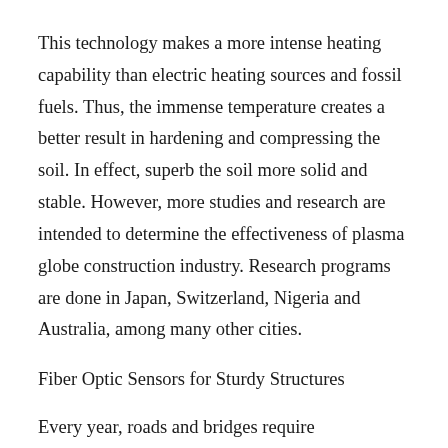This technology makes a more intense heating capability than electric heating sources and fossil fuels. Thus, the immense temperature creates a better result in hardening and compressing the soil. In effect, superb the soil more solid and stable. However, more studies and research are intended to determine the effectiveness of plasma globe construction industry. Research programs are done in Japan, Switzerland, Nigeria and Australia, among many other cities.
Fiber Optic Sensors for Sturdy Structures
Every year, roads and bridges require maintenance because some deteriorate easily. The rehabilitation in the structures cost you a lot of income and effort, which